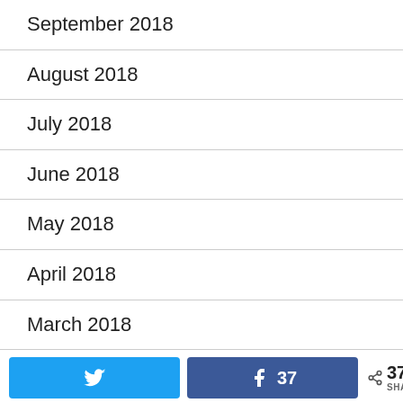September 2018
August 2018
July 2018
June 2018
May 2018
April 2018
March 2018
February 2018
January 2018
December 2017
Twitter share | Facebook share 37 | 37 SHARES